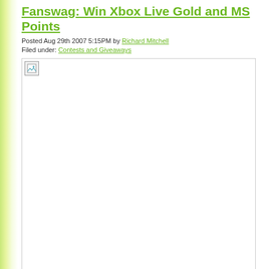Fanswag: Win Xbox Live Gold and MS Points
Posted Aug 29th 2007 5:15PM by Richard Mitchell
Filed under: Contests and Giveaways
[Figure (photo): Broken/missing image placeholder shown as a small icon in the top-left of a white bordered box]